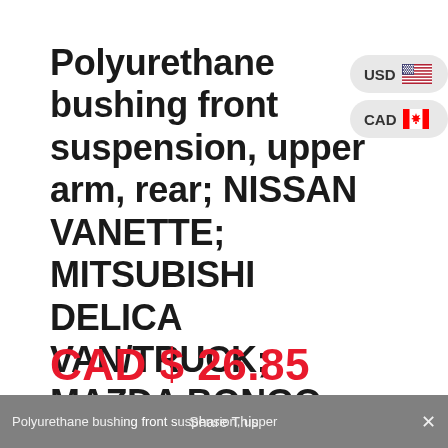Polyurethane bushing front suspension, upper arm, rear; NISSAN VANETTE; MITSUBISHI DELICA VAN/TRUCK; MAZDA BONGO; BONGO BRAWNY; OEM 54506-HA000; 2-06-1449
CAD $ 26.85
Polyurethane bushing front suspension, upper  Share This ×